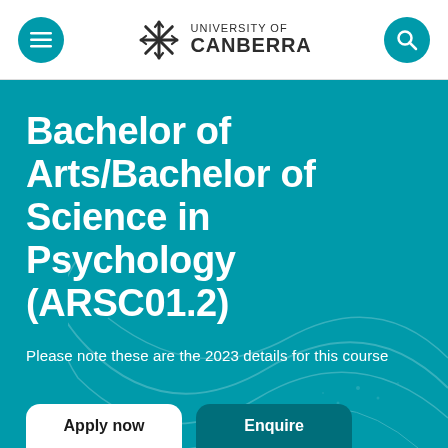University of Canberra
Bachelor of Arts/Bachelor of Science in Psychology (ARSC01.2)
Please note these are the 2023 details for this course